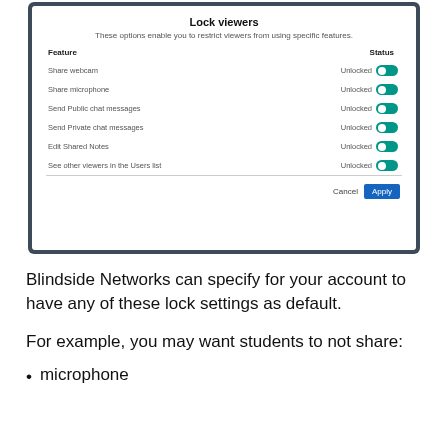[Figure (screenshot): A 'Lock viewers' dialog box showing a table of features (Share webcam, Share microphone, Send Public chat messages, Send Private chat messages, Edit Shared Notes, See other viewers in the Users list) each with 'Unlocked' status and a teal toggle switch turned on. At the bottom are Cancel and Apply buttons.]
Blindside Networks can specify for your account to have any of these lock settings as default.
For example, you may want students to not share:
microphone